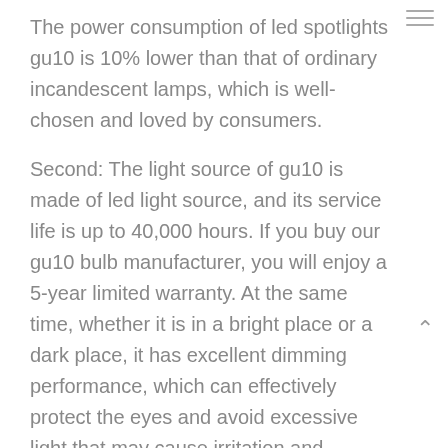The power consumption of led spotlights gu10 is 10% lower than that of ordinary incandescent lamps, which is well-chosen and loved by consumers.
Second: The light source of gu10 is made of led light source, and its service life is up to 40,000 hours. If you buy our gu10 bulb manufacturer, you will enjoy a 5-year limited warranty. At the same time, whether it is in a bright place or a dark place, it has excellent dimming performance, which can effectively protect the eyes and avoid excessive light that may cause irritation and damage to the eyes.
Third: The switch of our gu10 bulb is made with high-tech technology values, which can avoid the